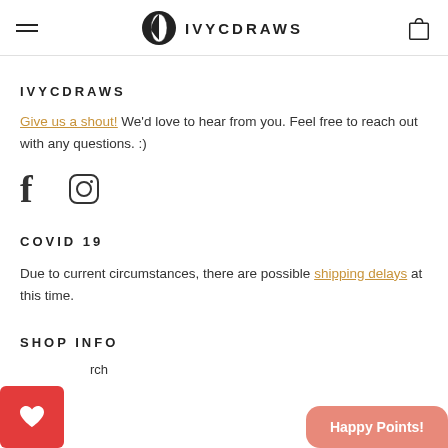IVYCDRAWS — navigation header with hamburger menu, logo, and bag icon
IVYCDRAWS
Give us a shout! We'd love to hear from you. Feel free to reach out with any questions. :)
[Figure (illustration): Social media icons: Facebook (f) and Instagram (circle with rounded square camera icon)]
COVID 19
Due to current circumstances, there are possible shipping delays at this time.
SHOP INFO
rch
[Figure (illustration): Red wishlist heart button and pink Happy Points! button at the bottom of the page]